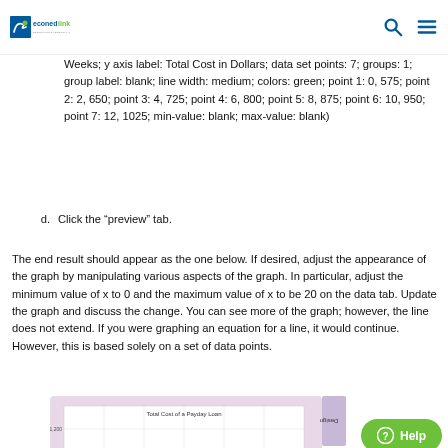econedlink — Economics & Personal Finance Resources for K-12
Weeks; y axis label: Total Cost in Dollars; data set points: 7; groups: 1; group label: blank; line width: medium; colors: green; point 1: 0, 575; point 2: 2, 650; point 3: 4, 725; point 4: 6, 800; point 5: 8, 875; point 6: 10, 950; point 7: 12, 1025; min-value: blank; max-value: blank)
d.  Click the “preview” tab.
The end result should appear as the one below. If desired, adjust the appearance of the graph by manipulating various aspects of the graph. In particular, adjust the minimum value of x to 0 and the maximum value of x to be 20 on the data tab. Update the graph and discuss the change. You can see more of the graph; however, the line does not extend. If you were graphing an equation for a line, it would continue. However, this is based solely on a set of data points.
[Figure (screenshot): Screenshot of an online graph tool showing a line chart titled 'Total Cost of a Payday Loan' with a green line plotting cost in dollars versus weeks. The interface shows Design and Data tabs on the right side.]